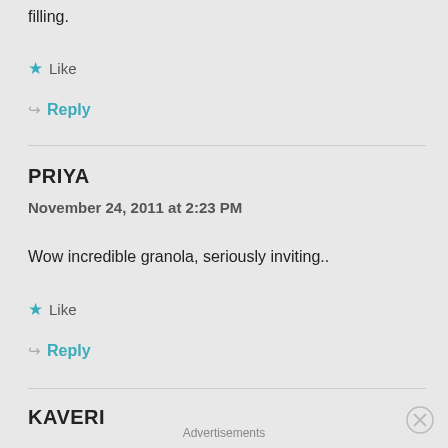filling.
★ Like
↪ Reply
PRIYA
November 24, 2011 at 2:23 PM
Wow incredible granola, seriously inviting..
★ Like
↪ Reply
KAVERI
Advertisements